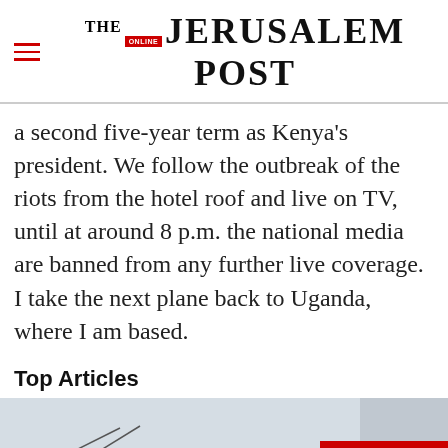THE JERUSALEM POST
a second five-year term as Kenya's president. We follow the outbreak of the riots from the hotel roof and live on TV, until at around 8 p.m. the national media are banned from any further live coverage. I take the next plane back to Uganda, where I am based.
Top Articles
[Figure (photo): Article image strip with Read More badge]
Advertisement
[Figure (infographic): Indeed advertisement banner: Get drivers on the road with Indeed.]